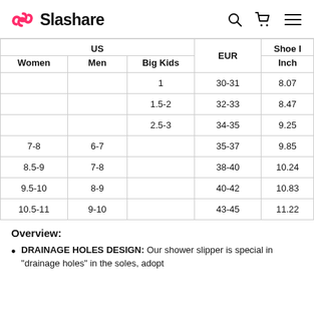Slashare
| Women | Men | Big Kids | EUR | Shoe I / Inch |
| --- | --- | --- | --- | --- |
|  |  | 1 | 30-31 | 8.07 |
|  |  | 1.5-2 | 32-33 | 8.47 |
|  |  | 2.5-3 | 34-35 | 9.25 |
| 7-8 | 6-7 |  | 35-37 | 9.85 |
| 8.5-9 | 7-8 |  | 38-40 | 10.24 |
| 9.5-10 | 8-9 |  | 40-42 | 10.83 |
| 10.5-11 | 9-10 |  | 43-45 | 11.22 |
Overview:
DRAINAGE HOLES DESIGN: Our shower slipper is special in "drainage holes" in the soles, adopt